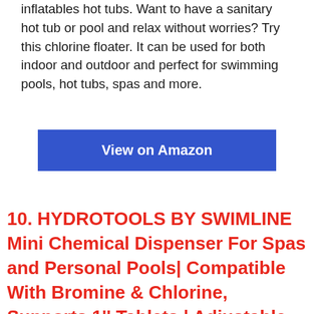inflatables hot tubs. Want to have a sanitary hot tub or pool and relax without worries? Try this chlorine floater. It can be used for both indoor and outdoor and perfect for swimming pools, hot tubs, spas and more.
View on Amazon
10. HYDROTOOLS BY SWIMLINE Mini Chemical Dispenser For Spas and Personal Pools| Compatible With Bromine & Chlorine, Supports 1'' Tablets | Adjustable Control Ring For Customizable Flow Rate